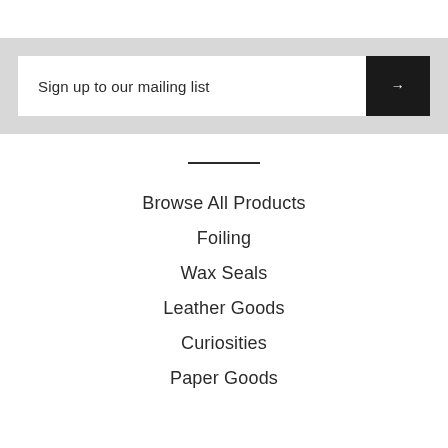Sign up to our mailing list
Browse All Products
Foiling
Wax Seals
Leather Goods
Curiosities
Paper Goods